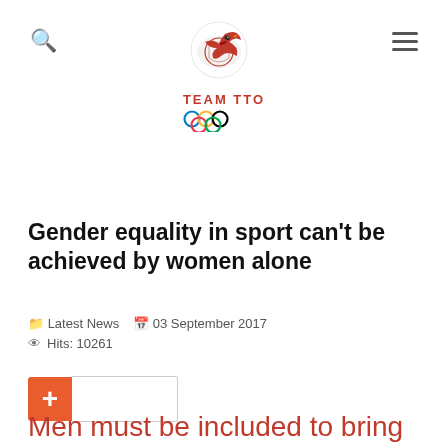[Figure (logo): Team TTO Olympic logo with bird graphic and Olympic rings]
Gender equality in sport can't be achieved by women alone
Latest News   03 September 2017
Hits: 10261
Men must be included to bring